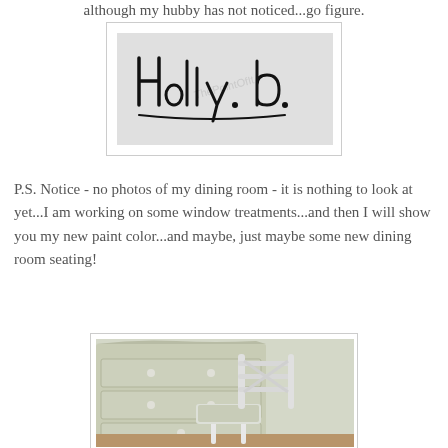although my hubby has not noticed...go figure.
[Figure (illustration): Handwritten signature reading 'Holly d.' in black ink on a light gray background, with 'ThePointOfIt' watermark text visible.]
P.S. Notice - no photos of my dining room - it is nothing to look at yet...I am working on some window treatments...and then I will show you my new paint color...and maybe, just maybe some new dining room seating!
[Figure (photo): A white dining chair with a light striped upholstered seat positioned in front of a pale green painted dresser/chest of drawers. Hardwood floor visible at the bottom.]